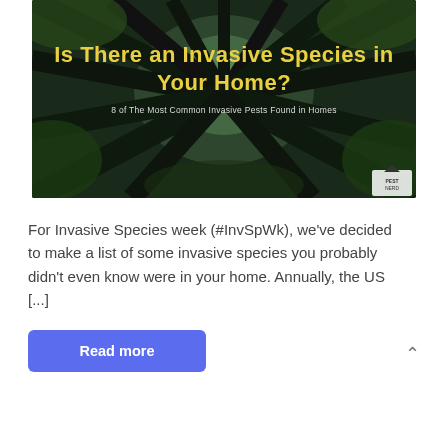[Figure (photo): Looking up through tall dark trees with a forest canopy background. Overlaid yellow bold text reads 'Is There an Invasive Species in Your Home?' with white subtitle '8 of The Most Common Invasive Pests Found in Homes'. Small logo watermark in bottom-right corner.]
For Invasive Species week (#InvSpWk), we've decided to make a list of some invasive species you probably didn't even know were in your home. Annually, the US [...]
Read more